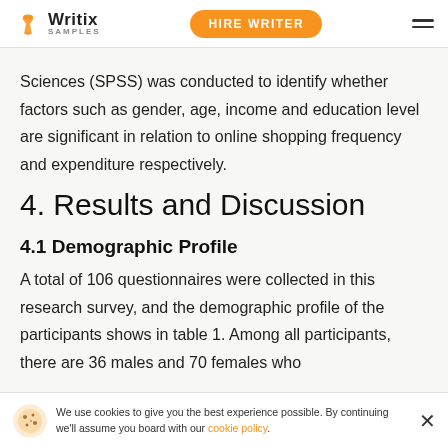Writix SAMPLES — HIRE WRITER
Sciences (SPSS) was conducted to identify whether factors such as gender, age, income and education level are significant in relation to online shopping frequency and expenditure respectively.
4. Results and Discussion
4.1 Demographic Profile
A total of 106 questionnaires were collected in this research survey, and the demographic profile of the participants shows in table 1. Among all participants, there are 36 males and 70 females who…
We use cookies to give you the best experience possible. By continuing we'll assume you board with our cookie policy.